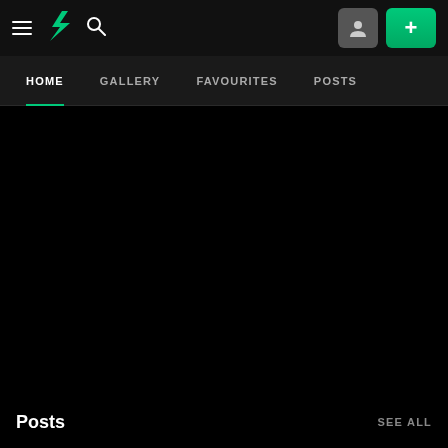[Figure (screenshot): DeviantArt mobile app top navigation bar with hamburger menu, DA lightning bolt logo (green), search icon, user avatar button, and green plus button]
HOME   GALLERY   FAVOURITES   POSTS
Posts
SEE ALL